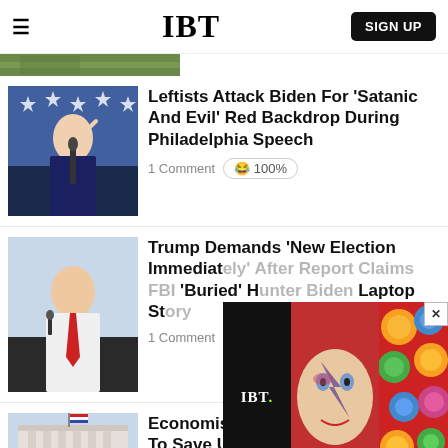IBT — SIGN UP
[Figure (photo): Partial top strip image — green/outdoor scene]
[Figure (photo): Joe Biden speaking at podium with microphone, pointing finger, blue background with stars]
Leftists Attack Biden For 'Satanic And Evil' Red Backdrop During Philadelphia Speech
1 Comment 😂 100%
[Figure (photo): Donald Trump speaking at podium with microphone, red tie, white shirt]
Trump Demands 'New Election Immediately' After Report Claims FBI 'Buried' Hunter Biden Laptop Story
1 Comment
[Figure (other): IBT advertisement overlay showing David Bowie-style face artwork and colorful spheres, with IBT logo]
[Figure (photo): Federal Reserve building exterior with American flag]
Economist Says 'Miracle' Needed To Save US From